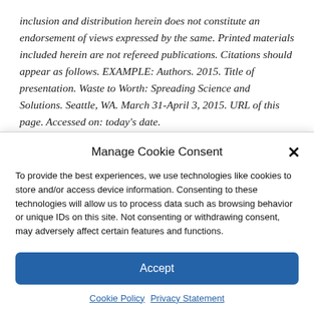inclusion and distribution herein does not constitute an endorsement of views expressed by the same. Printed materials included herein are not refereed publications. Citations should appear as follows. EXAMPLE: Authors. 2015. Title of presentation. Waste to Worth: Spreading Science and Solutions. Seattle, WA. March 31-April 3, 2015. URL of this page. Accessed on: today's date.
Manage Cookie Consent
To provide the best experiences, we use technologies like cookies to store and/or access device information. Consenting to these technologies will allow us to process data such as browsing behavior or unique IDs on this site. Not consenting or withdrawing consent, may adversely affect certain features and functions.
Accept
Cookie Policy   Privacy Statement